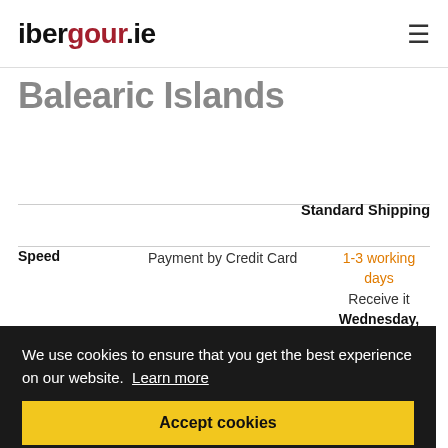ibergour.ie
Balearic Islands
|  |  | Standard Shipping |
| --- | --- | --- |
| Speed | Payment by Credit Card | 1-3 working days
Receive it
Wednesday, August 31 or sooner |
We use cookies to ensure that you get the best experience on our website. Learn more
Accept cookies
Boned & sliced
Add 2 working days